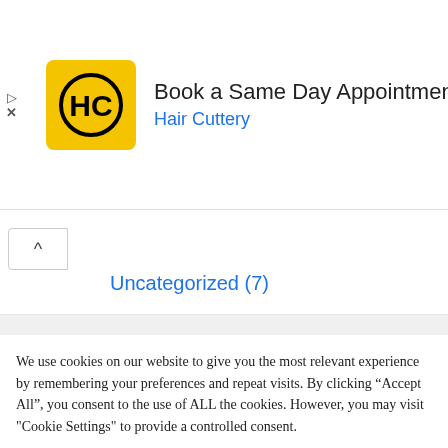[Figure (other): Advertisement banner for Hair Cuttery - Book a Same Day Appointment with HC logo (yellow square with HC letters in black circle) and a blue diamond navigation arrow icon]
Uncategorized (7)
We use cookies on our website to give you the most relevant experience by remembering your preferences and repeat visits. By clicking “Accept All”, you consent to the use of ALL the cookies. However, you may visit "Cookie Settings" to provide a controlled consent.
Cookie Settings
Accept All